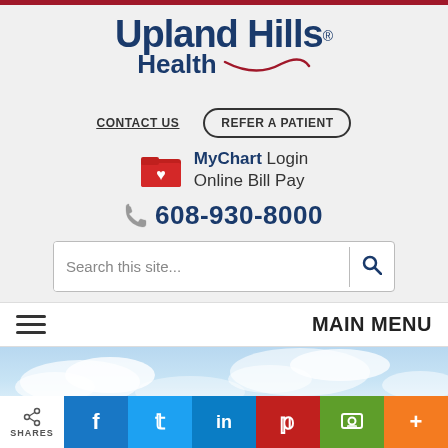[Figure (logo): Upland Hills Health logo with dark blue text, red heart symbol, and red swoosh underline]
CONTACT US
REFER A PATIENT
MyChart Login
Online Bill Pay
608-930-8000
Search this site...
MAIN MENU
[Figure (photo): Sky with clouds background image]
SHARES